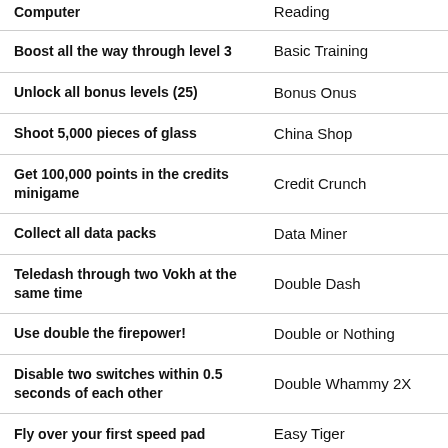| Description | Achievement |
| --- | --- |
| Computer | Reading |
| Boost all the way through level 3 | Basic Training |
| Unlock all bonus levels (25) | Bonus Onus |
| Shoot 5,000 pieces of glass | China Shop |
| Get 100,000 points in the credits minigame | Credit Crunch |
| Collect all data packs | Data Miner |
| Teledash through two Vokh at the same time | Double Dash |
| Use double the firepower! | Double or Nothing |
| Disable two switches within 0.5 seconds of each other | Double Whammy 2X |
| Fly over your first speed pad | Easy Tiger |
| Destroy 50 Vokh Guards | Exterminator |